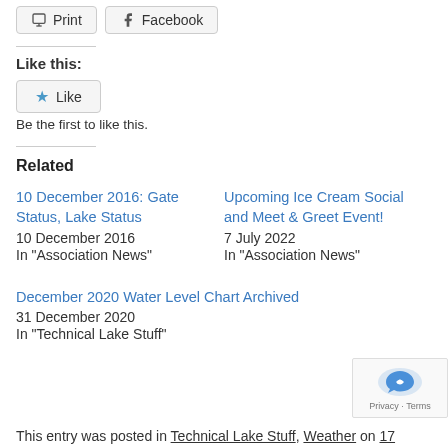Print  Facebook
Like this:
Like
Be the first to like this.
Related
10 December 2016: Gate Status, Lake Status
10 December 2016
In "Association News"
Upcoming Ice Cream Social and Meet & Greet Event!
7 July 2022
In "Association News"
December 2020 Water Level Chart Archived
31 December 2020
In "Technical Lake Stuff"
This entry was posted in Technical Lake Stuff, Weather on 17